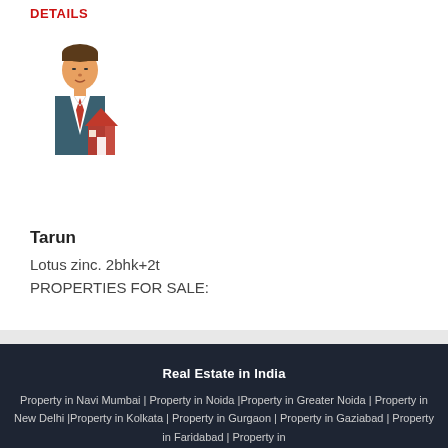DETAILS
[Figure (illustration): Real estate agent icon – a cartoon person in a suit standing in front of a house]
Tarun
Lotus zinc. 2bhk+2t
PROPERTIES FOR SALE:
Real Estate in India
Property in Navi Mumbai | Property in Noida |Property in Greater Noida | Property in New Delhi |Property in Kolkata | Property in Gurgaon | Property in Gaziabad | Property in Faridabad | Property in